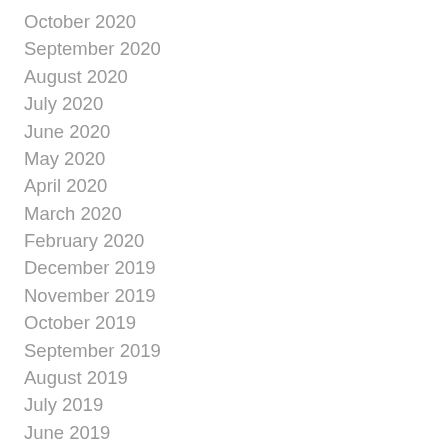October 2020
September 2020
August 2020
July 2020
June 2020
May 2020
April 2020
March 2020
February 2020
December 2019
November 2019
October 2019
September 2019
August 2019
July 2019
June 2019
May 2019
February 2019
October 2018
September 2018